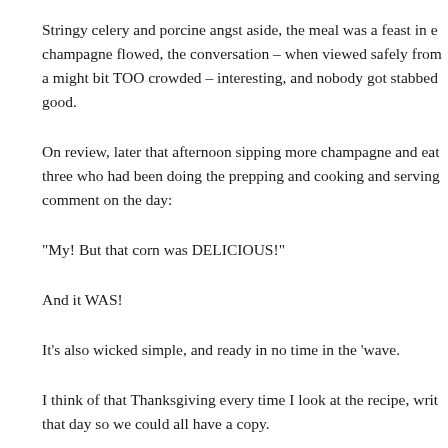Stringy celery and porcine angst aside, the meal was a feast in e champagne flowed, the conversation – when viewed safely from a might bit TOO crowded – interesting, and nobody got stabbed good.
On review, later that afternoon sipping more champagne and eat three who had been doing the prepping and cooking and serving comment on the day:
“My! But that corn was DELICIOUS!”
And it WAS!
It’s also wicked simple, and ready in no time in the ‘wave.
I think of that Thanksgiving every time I look at the recipe, writ that day so we could all have a copy.
INGREDIENTS